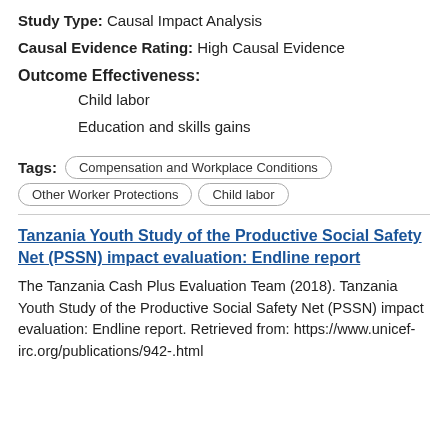Study Type: Causal Impact Analysis
Causal Evidence Rating: High Causal Evidence
Outcome Effectiveness:
Child labor
Education and skills gains
Tags: Compensation and Workplace Conditions | Other Worker Protections | Child labor
Tanzania Youth Study of the Productive Social Safety Net (PSSN) impact evaluation: Endline report
The Tanzania Cash Plus Evaluation Team (2018). Tanzania Youth Study of the Productive Social Safety Net (PSSN) impact evaluation: Endline report. Retrieved from: https://www.unicef-irc.org/publications/942-.html